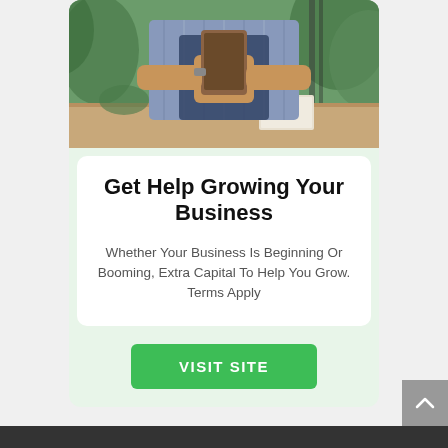[Figure (photo): Person wearing a plaid shirt and apron holding a tablet, sitting at a wooden desk with a card reader, notebook, and plants in background. Small business owner setting.]
Get Help Growing Your Business
Whether Your Business Is Beginning Or Booming, Extra Capital To Help You Grow. Terms Apply
VISIT SITE